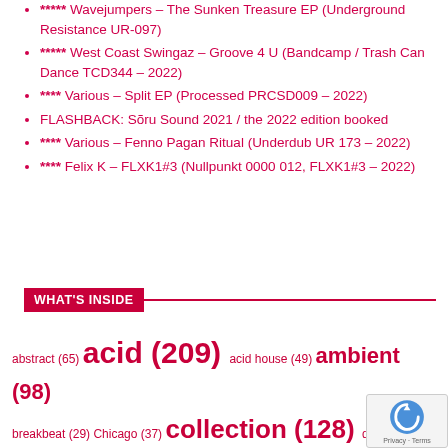***** Wavejumpers – The Sunken Treasure EP (Underground Resistance UR-097)
***** West Coast Swingaz – Groove 4 U (Bandcamp / Trash Can Dance TCD344 – 2022)
**** Various – Split EP (Processed PRCSD009 – 2022)
FLASHBACK: Sõru Sound 2021 / the 2022 edition booked
**** Various – Fenno Pagan Ritual (Underdub UR 173 – 2022)
**** Felix K – FLXK1#3 (Nullpunkt 0000 012, FLXK1#3 – 2022)
WHAT'S INSIDE
abstract (65) acid (209) acid house (49) ambient (98) breakbeat (29) Chicago (37) collection (128) dark ambient (29) dark techno (48) deep house (66) Detroit (120) disco (33) downtempo (42) drone (64) dubstep (28) dub techno (68) electro (224) electronica (82) Estonia (39) experimental (212) funk (31) hardcore (40) house